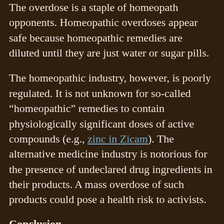The overdose is a staple of homeopath opponents. Homeopathic overdoses appear safe because homeopathic remedies are diluted until they are just water or sugar pills.
The homeopathic industry, however, is poorly regulated. It is not unknown for so-called “homeopathic” remedies to contain physiologically significant doses of active compounds (e.g., zinc in Zicam). The alternative medicine industry is notorious for the presence of undeclared drug ingredients in their products. A mass overdose of such products could pose a health risk to activists.
Conclusion
I do not know what the 10:23 Campaign has